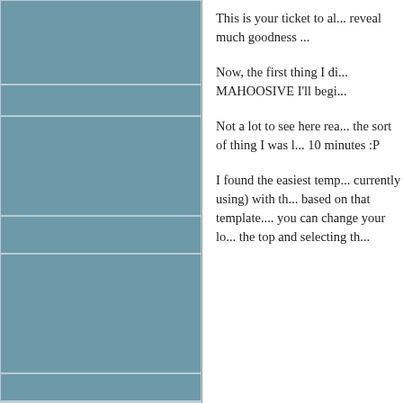[Figure (other): Left side navigation panel with teal/steel blue background divided into horizontal blocks by thin white borders]
This is your ticket to all... reveal much goodness ...
Now, the first thing I di... MAHOOSIVE I'll begi...
Not a lot to see here rea... the sort of thing I was l... 10 minutes :P
I found the easiest temp... currently using) with th... based on that template.... you can change your lo... the top and selecting th...